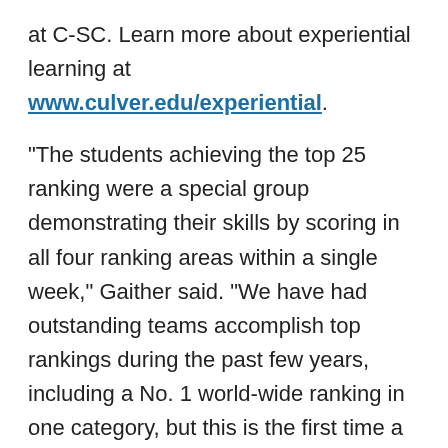at C-SC. Learn more about experiential learning at www.culver.edu/experiential.
"The students achieving the top 25 ranking were a special group demonstrating their skills by scoring in all four ranking areas within a single week," Gaither said. "We have had outstanding teams accomplish top rankings during the past few years, including a No. 1 world-wide ranking in one category, but this is the first time a team has scored in the top 25 in all four measurements simultaneously. This team demonstrated their ability to balance the operations, marketing and financial strategies in their decision making for their fictitious company."
The master of business administration program is one of three graduate programs offered at Culver-Stockton,